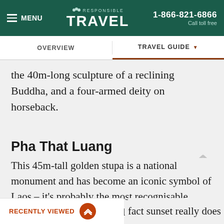MENU | RESPONSIBLE TRAVEL | 1-866-821-6866 Call toll free
OVERVIEW | TRAVEL GUIDE
the 40m-long sculpture of a reclining Buddha, and a four-armed deity on horseback.
Pha That Luang
This 45m-tall golden stupa is a national monument and has become an iconic symbol of Laos – it's probably the most recognisable structure in Vientiane. Said to contain a holy uddha – the stupa glows fact sunset really does
RECENTLY VIEWED